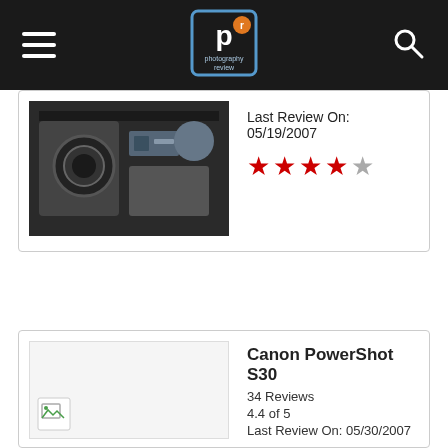Photography Review navigation bar with logo, hamburger menu, and search icon
Last Review On: 05/19/2007
[Figure (other): 4 out of 5 red stars rating]
[Figure (photo): Partial camera product thumbnail image (dark/close-up shot)]
Canon PowerShot S30
34 Reviews
4.4 of 5
Last Review On: 05/30/2007